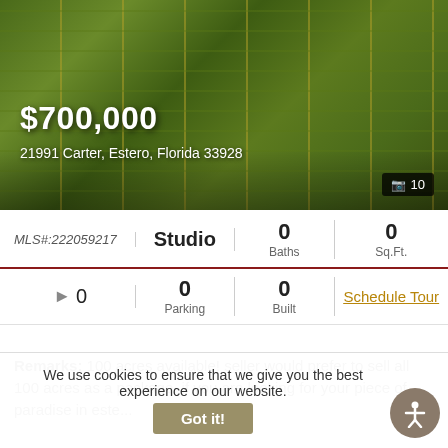[Figure (photo): Aerial view of 100-acre farmland/green fields with yellow boundary lines in Estero, Florida]
$700,000
21991 Carter, Estero, Florida 33928
| MLS# | Type | Baths | Sq.Ft. |
| --- | --- | --- | --- |
| MLS#:222059217 | Studio | 0 Baths | 0 Sq.Ft. |
| 0 | 0 Parking | 0 Built | Schedule Tour |
Remarks: 100 acres available! seller would prefer to sell all 100 acres as a package. if you are looking for your piece of paradise in este...
[Figure (photo): Partial aerial view of second property listing]
We use cookies to ensure that we give you the best experience on our website.